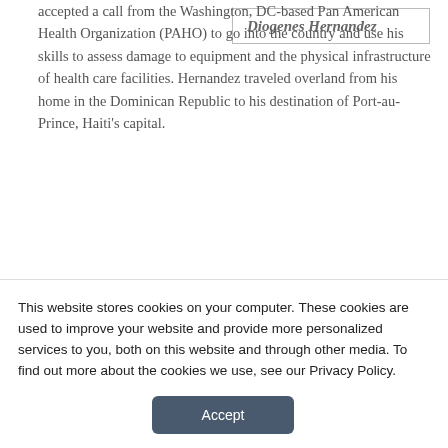accepted a call from the Washington, DC-based Pan American Health Organization (PAHO) to go into the country and use his skills to assess damage to equipment and the physical infrastructure of health care facilities. Hernandez traveled overland from his home in the Dominican Republic to his destination of Port-au-Prince, Haiti's capital.
Diogenes Hernandez
The PAHO representative in the Dominican Republic gave Hernandez a double cab pickup with a driver, as well as everything needed for an independent 2-week stay. With no possibility of obtaining a hotel, the
This website stores cookies on your computer. These cookies are used to improve your website and provide more personalized services to you, both on this website and through other media. To find out more about the cookies we use, see our Privacy Policy.